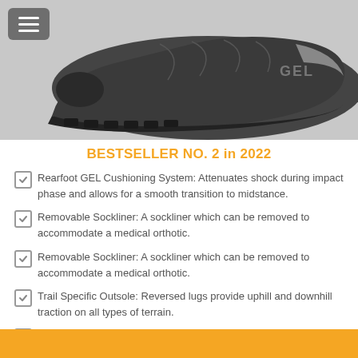[Figure (photo): Dark gray ASICS trail running shoe viewed from the side/bottom angle showing sole and mesh upper]
BESTSELLER NO. 2 in 2022
Rearfoot GEL Cushioning System: Attenuates shock during impact phase and allows for a smooth transition to midstance.
Removable Sockliner: A sockliner which can be removed to accommodate a medical orthotic.
Removable Sockliner: A sockliner which can be removed to accommodate a medical orthotic.
Trail Specific Outsole: Reversed lugs provide uphill and downhill traction on all types of terrain.
AHAR Outsole: Acronym for ASICS High Abrasion Rubber. Placed in critical areas of the outsole for exceptional durability.